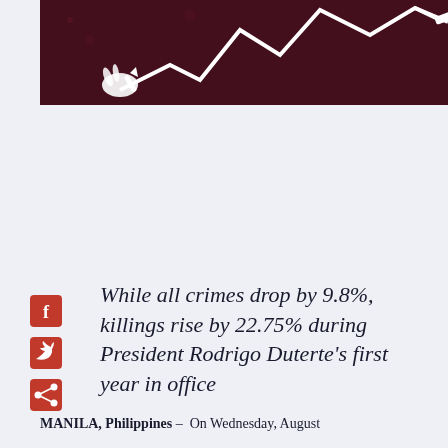[Figure (illustration): Dark maroon/brown illustrated banner showing a hand holding a pen drawing an upward-trending zigzag line chart on a dark background.]
While all crimes drop by 9.8%, killings rise by 22.75% during President Rodrigo Duterte's first year in office
MANILA, Philippines –  On Wednesday, August